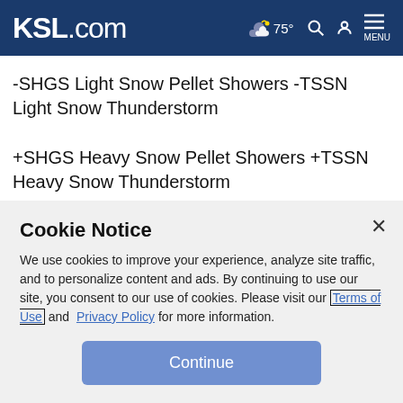KSL.com — 75° [weather icon] [search icon] [user icon] MENU
-SHGS Light Snow Pellet Showers -TSSN Light Snow Thunderstorm
+SHGS Heavy Snow Pellet Showers +TSSN Heavy Snow Thunderstorm
-SHRA Light Rain Showers -SHRASN Light Rain/Snow Showers
Cookie Notice
We use cookies to improve your experience, analyze site traffic, and to personalize content and ads. By continuing to use our site, you consent to our use of cookies. Please visit our Terms of Use and Privacy Policy for more information.
Continue